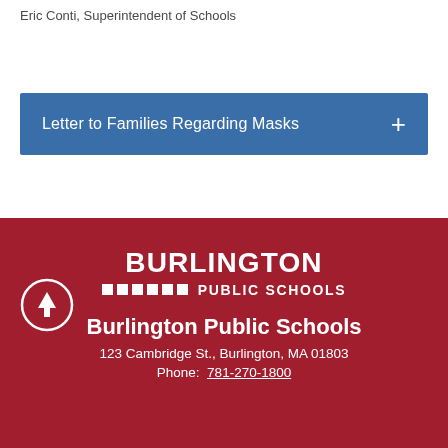Eric Conti, Superintendent of Schools
Letter to Families Regarding Masks
[Figure (logo): Burlington Public Schools logo: bold white BURLINGTON text with colored square dots and PUBLIC SCHOOLS text on dark red background]
Burlington Public Schools
123 Cambridge St., Burlington, MA 01803
Phone:  781-270-1800